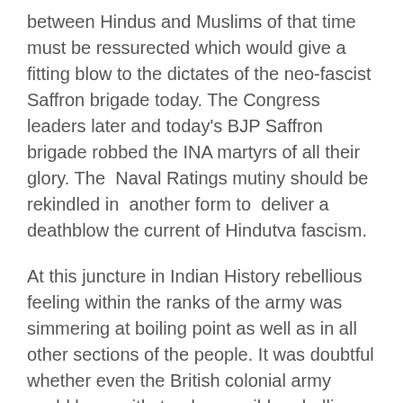between Hindus and Muslims of that time must be ressurected which would give a fitting blow to the dictates of the neo-fascist Saffron brigade today. The Congress leaders later and today's BJP Saffron brigade robbed the INA martyrs of all their glory. The Naval Ratings mutiny should be rekindled in another form to deliver a deathblow the current of Hindutva fascism.
At this juncture in Indian History rebellious feeling within the ranks of the army was simmering at boiling point as well as in all other sections of the people. It was doubtful whether even the British colonial army could have withstood a possible rebellion. The turn of events was shaping a massive upheaval penetrating the very heart of British rule.